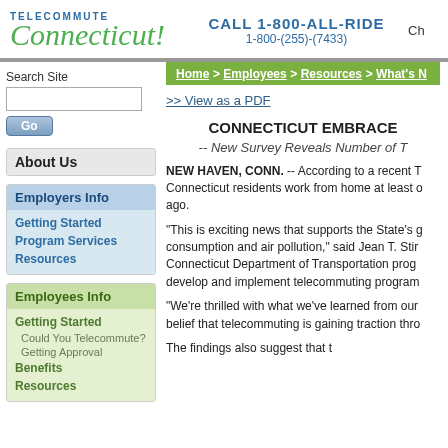TELECOMMUTE Connecticut! | CALL 1-800-ALL-RIDE 1-800-(255)-(7433) | Ch
Search Site
About Us
Employers Info
Getting Started
Program Services
Resources
Employees Info
Getting Started
Could You Telecommute?
Getting Approval
Benefits
Resources
Home > Employees > Resources > What's N
>> View as a PDF
CONNECTICUT EMBRACE
-- New Survey Reveals Number of T
NEW HAVEN, CONN. -- According to a recent T Connecticut residents work from home at least o ago.
"This is exciting news that supports the State's g consumption and air pollution," said Jean T. Stir Connecticut Department of Transportation prog develop and implement telecommuting program
"We're thrilled with what we've learned from our belief that telecommuting is gaining traction thro
The findings also suggest that t